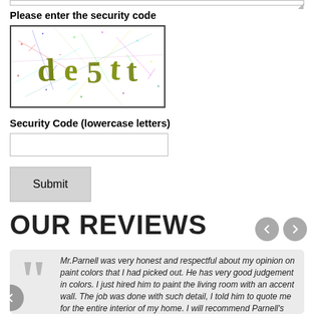[Figure (screenshot): CAPTCHA image showing distorted letters 'de5tt' on a background with colorful scattered marks and lines]
Please enter the security code
Security Code (lowercase letters)
Submit
OUR REVIEWS
Mr.Parnell was very honest and respectful about my opinion on paint colors that I had picked out. He has very good judgement in colors. I just hired him to paint the living room with an accent wall. The job was done with such detail, I told him to quote me for the entire interior of my home. I will recommend Parnell's Custom painting,inc. to anyone who ask me anything about painting and have plans to call them back in the near future to paint the exterior of my home.